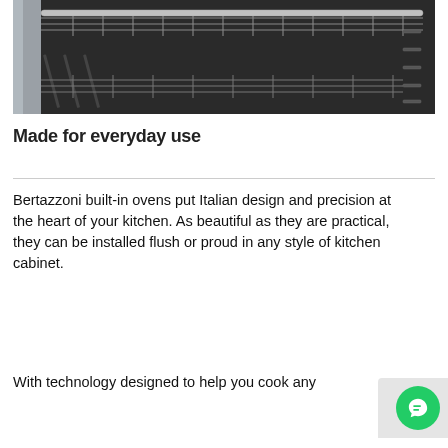[Figure (photo): Close-up interior photo of a Bertazzoni built-in oven showing stainless steel wire racks and shelf guides inside a dark oven cavity.]
Made for everyday use
Bertazzoni built-in ovens put Italian design and precision at the heart of your kitchen. As beautiful as they are practical, they can be installed flush or proud in any style of kitchen cabinet.
With technology designed to help you cook any dish to perfection, the Bertazzoni built-in ovens...